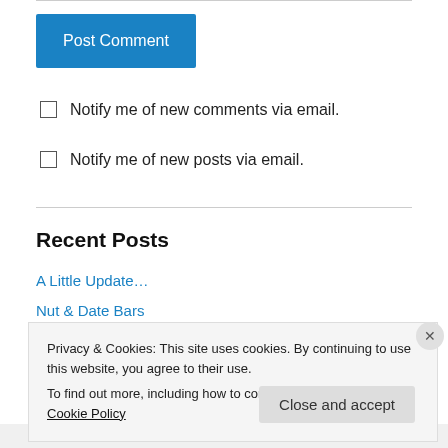[Figure (screenshot): Blue 'Post Comment' button]
Notify me of new comments via email.
Notify me of new posts via email.
Recent Posts
A Little Update…
Nut & Date Bars
Blueberry & Lemon Cupcakes
Privacy & Cookies: This site uses cookies. By continuing to use this website, you agree to their use. To find out more, including how to control cookies, see here: Cookie Policy
Close and accept